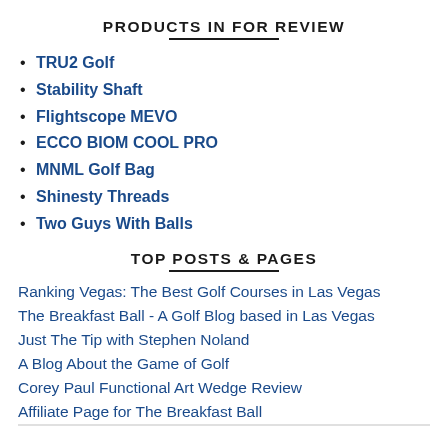PRODUCTS IN FOR REVIEW
TRU2 Golf
Stability Shaft
Flightscope MEVO
ECCO BIOM COOL PRO
MNML Golf Bag
Shinesty Threads
Two Guys With Balls
TOP POSTS & PAGES
Ranking Vegas: The Best Golf Courses in Las Vegas
The Breakfast Ball - A Golf Blog based in Las Vegas
Just The Tip with Stephen Noland
A Blog About the Game of Golf
Corey Paul Functional Art Wedge Review
Affiliate Page for The Breakfast Ball